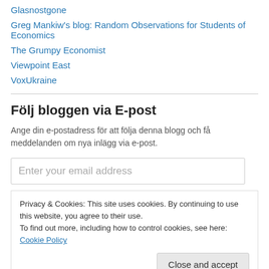Glasnostgone
Greg Mankiw's blog: Random Observations for Students of Economics
The Grumpy Economist
Viewpoint East
VoxUkraine
Följ bloggen via E-post
Ange din e-postadress för att följa denna blogg och få meddelanden om nya inlägg via e-post.
Enter your email address
Privacy & Cookies: This site uses cookies. By continuing to use this website, you agree to their use.
To find out more, including how to control cookies, see here: Cookie Policy
Close and accept